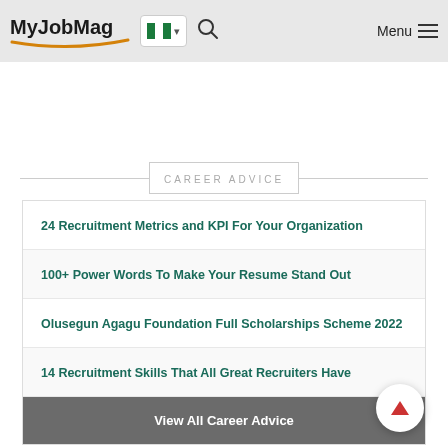MyJobMag — Navigation header with logo, Nigeria flag selector, search icon, and Menu
CAREER ADVICE
24 Recruitment Metrics and KPI For Your Organization
100+ Power Words To Make Your Resume Stand Out
Olusegun Agagu Foundation Full Scholarships Scheme 2022
14 Recruitment Skills That All Great Recruiters Have
View All Career Advice